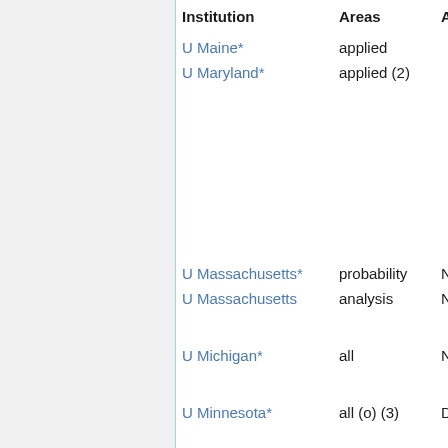| Institution | Areas | Apply by |
| --- | --- | --- |
| U Maine* | applied |  |
| U Maryland* | applied (2) |  |
| U Massachusetts* | probability | Nov 22 |
| U Massachusetts | analysis | Nov 22 |
| U Michigan* | all | Nov 1 |
| U Minnesota* | all (o) (3) | Dec 1 |